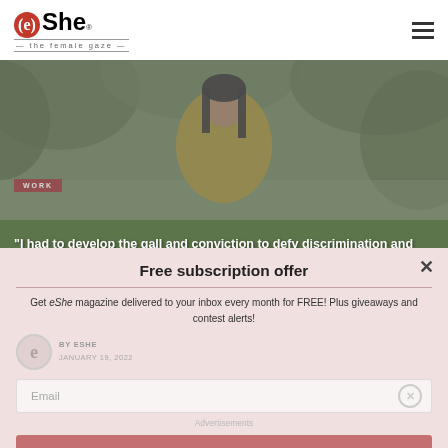[Figure (logo): eShe magazine logo - circular red e with 'She' text and 'the female gaze' tagline]
[Figure (photo): Woman in yellow outfit sitting outdoors with greenery behind her, Anuradha Pal]
“I had to develop the gall and conviction to defy discrimination and societal prejudice” – tabla player Anuradha Pal
WORK
Free subscription offer
Get eShe magazine delivered to your inbox every month for FREE! Plus giveaways and contest alerts!
BY ESHE
JANUARY 19, 2022
Email
Advertisements
SIGN UP